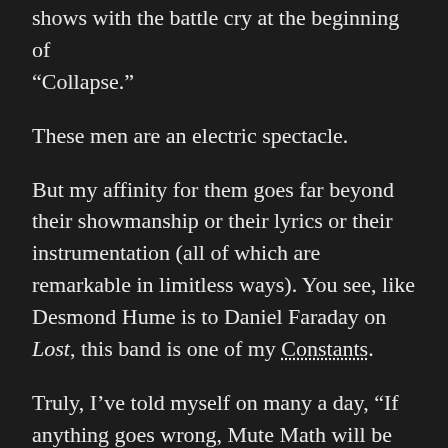shows with the battle cry at the beginning of “Collapse.”
These men are an electric spectacle.
But my affinity for them goes far beyond their showmanship or their lyrics or their instrumentation (all of which are remarkable in limitless ways). You see, like Desmond Hume is to Daniel Faraday on Lost, this band is one of my Constants.
Truly, I’ve told myself on many a day, “If anything goes wrong, Mute Math will be my Constant.”